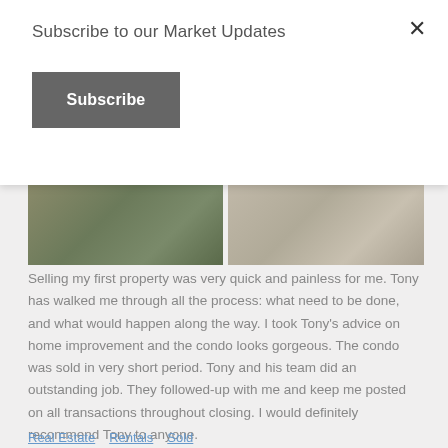Subscribe to our Market Updates
Subscribe
[Figure (photo): Two side-by-side property photos: left shows a cushioned item on a greenish surface, right shows a beige/taupe carpeted room]
Selling my first property was very quick and painless for me. Tony has walked me through all the process: what need to be done, and what would happen along the way. I took Tony's advice on home improvement and the condo looks gorgeous. The condo was sold in very short period. Tony and his team did an outstanding job. They followed-up with me and keep me posted on all transactions throughout closing. I would definitely recommend Tony to anyone.
Potjamarn Arpornratn
Sold in Issaquah – May 2018